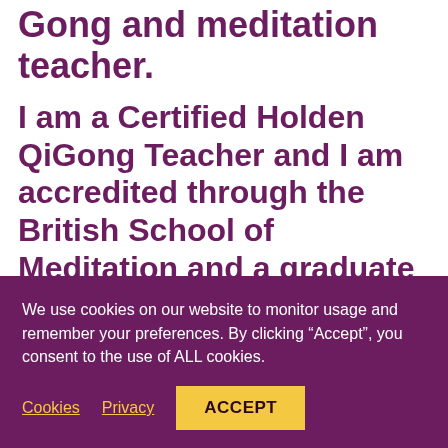Gong and meditation teacher.
I am a Certified Holden QiGong Teacher and I am accredited through the British School of Meditation and a graduate of davidji's Masters of Wisdom and Meditation Teacher Training Academy.
I was a crisis meditator for a number of years;
We use cookies on our website to monitor usage and remember your preferences. By clicking “Accept”, you consent to the use of ALL cookies.
Cookies  Privacy  ACCEPT